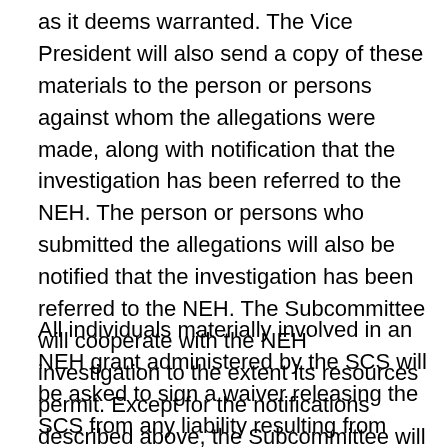as it deems warranted. The Vice President will also send a copy of these materials to the person or persons against whom the allegations were made, along with notification that the investigation has been referred to the NEH. The person or persons who submitted the allegations will also be notified that the investigation has been referred to the NEH. The Subcommittee will cooperate with the NEH investigation to the extent its resources permit. Except for the notifications described above, the Subcommittee will preserve strict confidentiality in this matter.
All individuals materially involved in an NEH grant administered by the SCS will be asked to sign a waiver releasing the SCS from any liability resulting from compliance with the NEH Research Misconduct Policies and Procedures.